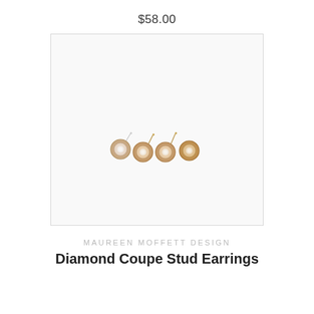$58.00
[Figure (photo): Four small rose gold and white gold diamond bezel stud earrings arranged in a loose row on a white background inside a light gray bordered box.]
MAUREEN MOFFETT DESIGN
Diamond Coupe Stud Earrings